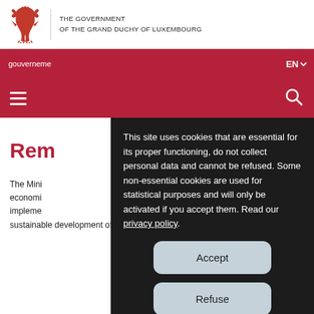[Figure (logo): Red lion rampant coat of arms logo of Luxembourg government]
THE GOVERNMENT
OF THE GRAND DUCHY OF LUXEMBOURG
gouverneme...
EN
[Figure (other): Hamburger menu icon (three white lines) on red background]
[Figure (other): Search magnifying glass icon on red background]
This site uses cookies that are essential for its proper functioning, do not collect personal data and cannot be refused. Some non-essential cookies are used for statistical purposes and will only be activated if you accept them. Read our privacy policy.
Accept
Refuse
Manage cookies
Rem
The Mini... s economi... impleme...ism and sustainable development of the national economy, in line with